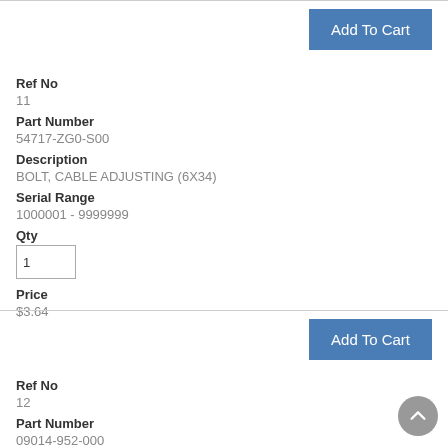Add To Cart
Ref No
11
Part Number
54717-ZG0-S00
Description
BOLT, CABLE ADJUSTING (6X34)
Serial Range
1000001 - 9999999
Qty
Price
$3.64
Add To Cart
Ref No
12
Part Number
09014-952-000